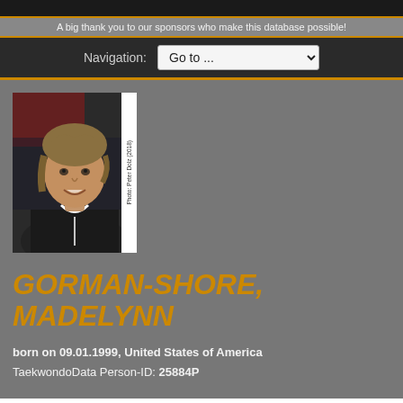A big thank you to our sponsors who make this database possible!
Navigation: Go to ...
[Figure (photo): Portrait photo of Madelynn Gorman-Shore, a young female athlete with curly/wavy light brown hair, smiling, wearing a dark jacket. Photo credit: Peter Dolz (2018)]
GORMAN-SHORE, Madelynn
born on 09.01.1999, United States of America
TaekwondoData Person-ID: 25884P